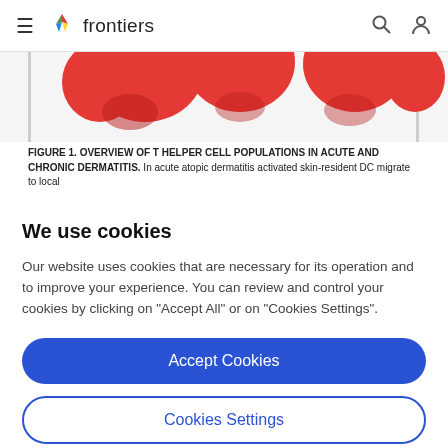frontiers
[Figure (illustration): Partial view of figure 1 showing red cell/shape illustrations against white background — top portion of a T helper cell populations diagram]
FIGURE 1. OVERVIEW OF T HELPER CELL POPULATIONS IN ACUTE AND CHRONIC DERMATITIS. In acute atopic dermatitis activated skin-resident DC migrate to local
We use cookies
Our website uses cookies that are necessary for its operation and to improve your experience. You can review and control your cookies by clicking on "Accept All" or on "Cookies Settings".
Accept Cookies
Cookies Settings